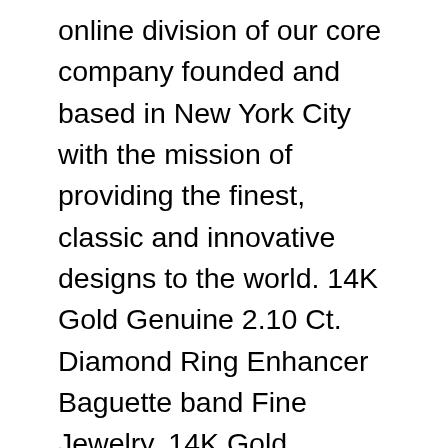online division of our core company founded and based in New York City with the mission of providing the finest, classic and innovative designs to the world. 14K Gold Genuine 2.10 Ct. Diamond Ring Enhancer Baguette band Fine Jewelry. 14K Gold Genuine 0.45 Ct. Diamond Ring Enhancer Half Eternity band Fine Jewelry. 14K Gold Genuine 0.54 Ct. 14K Gold Genuine 0.65 Ct. N's roots lies deep in the heart of New York City for almost three decades. We work with the mission of providing the finest, classic and innovative designs to the world. N is currently recognized for its top standards of workmanship and trusted customer service. We offer the most exquisite and elegant jewelry designs to some of the finest retailers around the globe. N's savoir faire is a perfect blend of artistry and craftsmanship. Through our